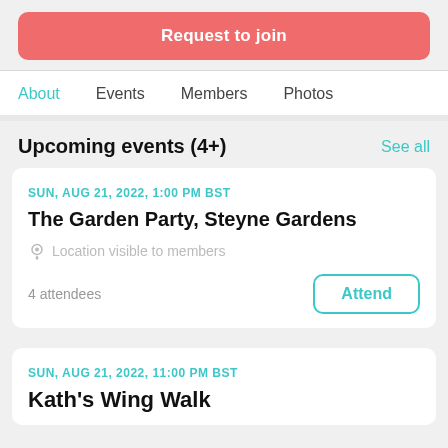Request to join
About
Events
Members
Photos
Upcoming events (4+)
See all
SUN, AUG 21, 2022, 1:00 PM BST
The Garden Party, Steyne Gardens
Location visible to members
4 attendees
Attend
SUN, AUG 21, 2022, 11:00 PM BST
Kath's Wing Walk